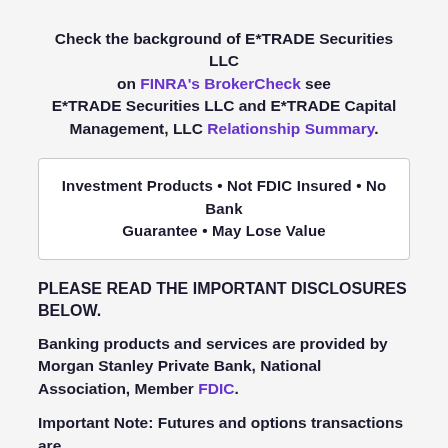Check the background of E*TRADE Securities LLC on FINRA's BrokerCheck see E*TRADE Securities LLC and E*TRADE Capital Management, LLC Relationship Summary.
Investment Products • Not FDIC Insured • No Bank Guarantee • May Lose Value
PLEASE READ THE IMPORTANT DISCLOSURES BELOW.
Banking products and services are provided by Morgan Stanley Private Bank, National Association, Member FDIC.
Important Note: Futures and options transactions are